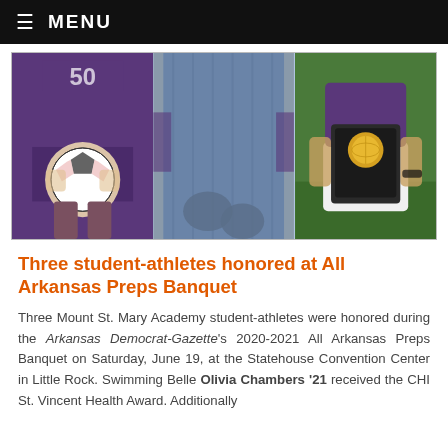☰ MENU
[Figure (photo): Three student-athletes in purple uniforms — left panel shows a player holding a soccer ball, middle panel shows a player in jeans/casual wear, right panel shows a player holding a trophy plaque.]
Three student-athletes honored at All Arkansas Preps Banquet
Three Mount St. Mary Academy student-athletes were honored during the Arkansas Democrat-Gazette's 2020-2021 All Arkansas Preps Banquet on Saturday, June 19, at the Statehouse Convention Center in Little Rock. Swimming Belle Olivia Chambers '21 received the CHI St. Vincent Health Award. Additionally